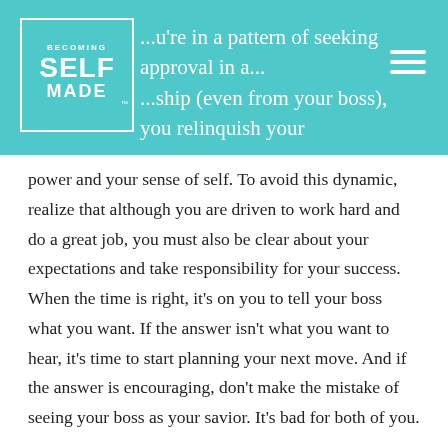BECOMING SELF MADE [logo] | ...u're in a pattern of seeking approval in a...ship (even from your boss), you relinquish your
power and your sense of self. To avoid this dynamic, realize that although you are driven to work hard and do a great job, you must also be clear about your expectations and take responsibility for your success. When the time is right, it's on you to tell your boss what you want. If the answer isn't what you want to hear, it's time to start planning your next move. And if the answer is encouraging, don't make the mistake of seeing your boss as your savior. It's bad for both of you.
3. Your Dream Job
Many people, especially today in our ever-flourishing